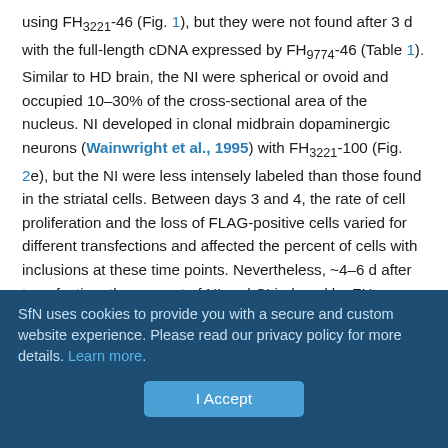using FH3221-46 (Fig. 1), but they were not found after 3 d with the full-length cDNA expressed by FH9774-46 (Table 1). Similar to HD brain, the NI were spherical or ovoid and occupied 10–30% of the cross-sectional area of the nucleus. NI developed in clonal midbrain dopaminergic neurons (Wainwright et al., 1995) with FH3221-100 (Fig. 2e), but the NI were less intensely labeled than those found in the striatal cells. Between days 3 and 4, the rate of cell proliferation and the loss of FLAG-positive cells varied for different transfections and affected the percent of cells with inclusions at these time points. Nevertheless, ~4–6 d after transfection, the percent of NI and CI induced by FH3221-100 began to increase, and by day six constituted 43 and 27% of the total labeled cells, respectively (Fig.3). The rise in cells with NI and CI overlapped a period of marked loss in the total
SfN uses cookies to provide you with a secure and custom website experience. Please read our privacy policy for more details. Learn more.